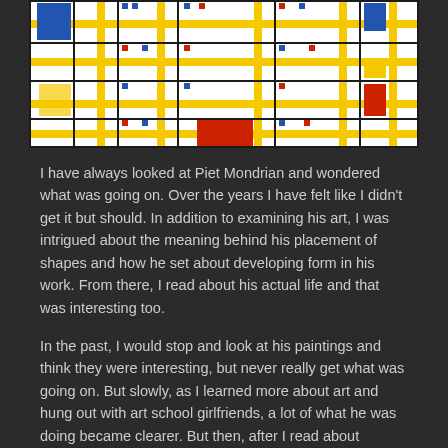[Figure (illustration): Mondrian-style painting with primary colored rectangles (blue, red, yellow) arranged in a grid of black lines on white background]
I have always looked at Piet Mondrian and wondered what was going on. Over the years I have felt like I didn't get it but should. In addition to examining his art, I was intrigued about the meaning behind his placement of shapes and how he set about developing form in his work. From there, I read about his actual life and that was interesting too.
In the past, I would stop and look at his paintings and think they were interesting, but never really get what was going on. But slowly, as I learned more about art and hung out with art school girlfriends, a lot of what he was doing became clearer. But then, after I read about the correlations between his work and his music, it for